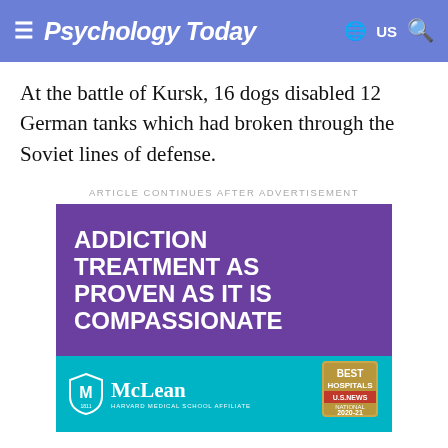Psychology Today
At the battle of Kursk, 16 dogs disabled 12 German tanks which had broken through the Soviet lines of defense.
ARTICLE CONTINUES AFTER ADVERTISEMENT
[Figure (infographic): McLean Hospital advertisement. Purple top section with white bold text: ADDICTION TREATMENT AS PROVEN AS IT IS COMPASSIONATE. Teal bottom section with McLean Harvard Medical School Affiliate logo and US News Best Hospitals 2020-21 badge.]